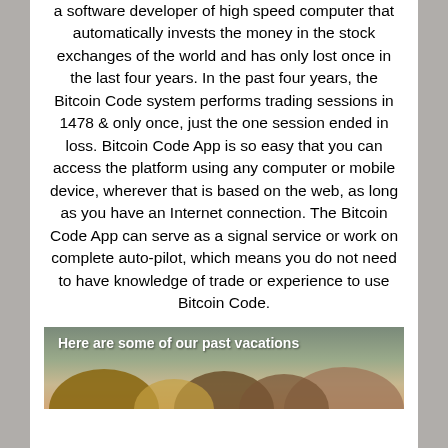a software developer of high speed computer that automatically invests the money in the stock exchanges of the world and has only lost once in the last four years. In the past four years, the Bitcoin Code system performs trading sessions in 1478 & only once, just the one session ended in loss. Bitcoin Code App is so easy that you can access the platform using any computer or mobile device, wherever that is based on the web, as long as you have an Internet connection. The Bitcoin Code App can serve as a signal service or work on complete auto-pilot, which means you do not need to have knowledge of trade or experience to use Bitcoin Code.
[Figure (photo): Banner image showing people from behind with text overlay reading 'Here are some of our past vacations']